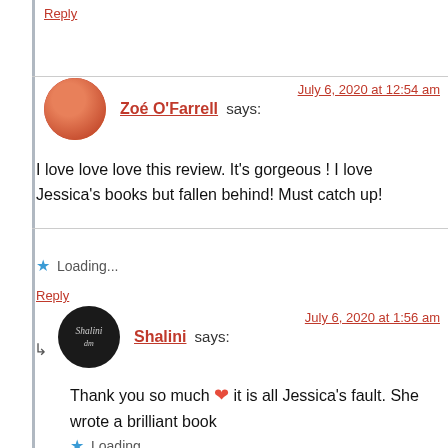Reply
Zoé O'Farrell says: July 6, 2020 at 12:54 am
I love love love this review. It's gorgeous ! I love Jessica's books but fallen behind! Must catch up!
Loading...
Reply
Shalini says: July 6, 2020 at 1:56 am
Thank you so much ❤ it is all Jessica's fault. She wrote a brilliant book
Loading...